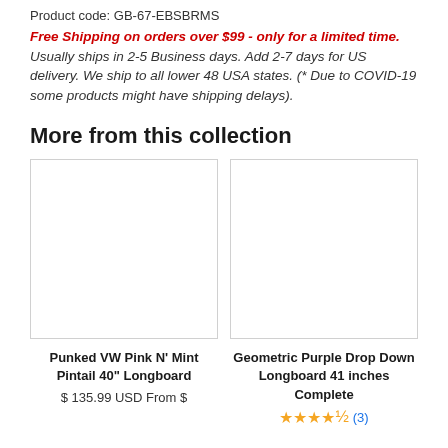Product code: GB-67-EBSBRMS
Free Shipping on orders over $99 - only for a limited time. Usually ships in 2-5 Business days. Add 2-7 days for US delivery. We ship to all lower 48 USA states. (* Due to COVID-19 some products might have shipping delays).
More from this collection
[Figure (photo): Blank product image placeholder for Punked VW Pink N' Mint Pintail 40" Longboard]
Punked VW Pink N' Mint Pintail 40" Longboard
$ 135.99 USD From $
[Figure (photo): Blank product image placeholder for Geometric Purple Drop Down Longboard 41 inches Complete]
Geometric Purple Drop Down Longboard 41 inches Complete
★★★★½ (3)